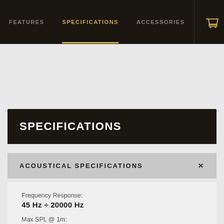FEATURES  SPECIFICATIONS  ACCESSORIES
SPECIFICATIONS
ACOUSTICAL SPECIFICATIONS
Frequency Response:
45 Hz ÷ 20000 Hz
Max SPL @ 1m:
133 dB